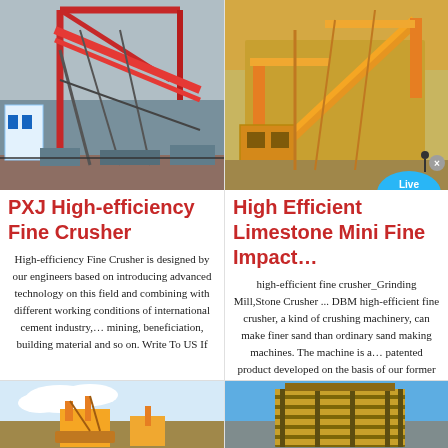[Figure (photo): Industrial red steel structure mining/crushing facility with red framework and conveyor belts]
PXJ High-efficiency Fine Crusher
High-efficiency Fine Crusher is designed by our engineers based on introducing advanced technology on this field and combining with different working conditions of international cement industry,… mining, beneficiation, building material and so on. Write To US If
[Figure (photo): Yellow heavy machinery impact crusher on sandy terrain with conveyor belt]
High Efficient Limestone Mini Fine Impact…
high-efficient fine crusher_Grinding Mill,Stone Crusher ... DBM high-efficient fine crusher, a kind of crushing machinery, can make finer sand than ordinary sand making machines. The machine is a… patented product developed on the basis of our former sand making
[Figure (photo): Yellow heavy equipment/crusher machine against cloudy sky]
[Figure (photo): Large industrial building/crusher structure against blue sky]